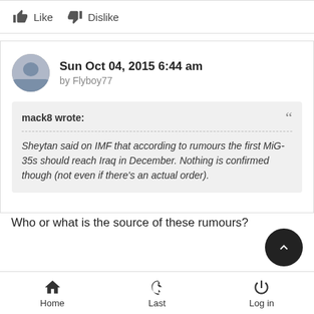(not even if there's an actual order).
Like  Dislike
Sun Oct 04, 2015 6:44 am by Flyboy77
mack8 wrote: Sheytan said on IMF that according to rumours the first MiG-35s should reach Iraq in December. Nothing is confirmed though (not even if there's an actual order).
Who or what is the source of these rumours?
Home  Last  Log in